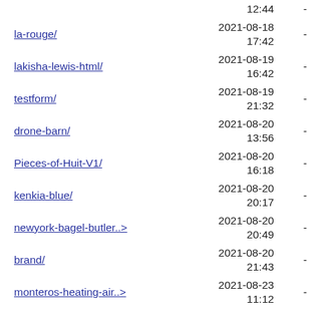la-rouge/ | 2021-08-18 17:42 | -
lakisha-lewis-html/ | 2021-08-19 16:42 | -
testform/ | 2021-08-19 21:32 | -
drone-barn/ | 2021-08-20 13:56 | -
Pieces-of-Huit-V1/ | 2021-08-20 16:18 | -
kenkia-blue/ | 2021-08-20 20:17 | -
newyork-bagel-butler..> | 2021-08-20 20:49 | -
brand/ | 2021-08-20 21:43 | -
monteros-heating-air..> | 2021-08-23 11:12 | -
lewis-electric-r1-html/ | 2021-08-23 14:07 | -
ParrishPlumbing/ | 2021-08-24 12:55 | -